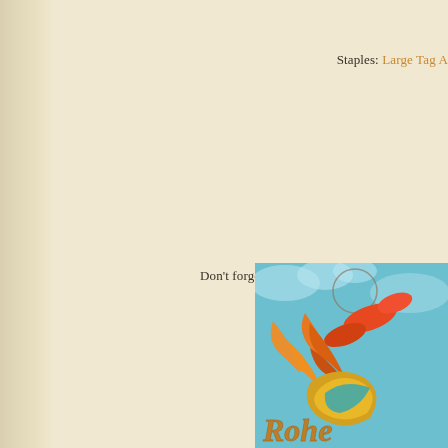Staples: Large Tag A
Don't forget to check out our Graph
[Figure (illustration): Colorful illustrated graphic partially visible in bottom-right corner, showing a retro-style design with orange and teal colors, appears to show a bottle or figure with decorative elements and partial text 'Rohe']